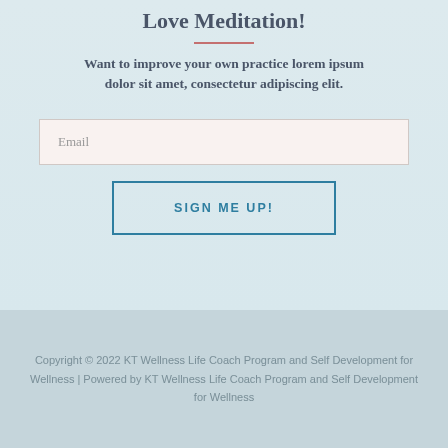Love Meditation!
Want to improve your own practice lorem ipsum dolor sit amet, consectetur adipiscing elit.
Email
SIGN ME UP!
Copyright © 2022 KT Wellness Life Coach Program and Self Development for Wellness | Powered by KT Wellness Life Coach Program and Self Development for Wellness